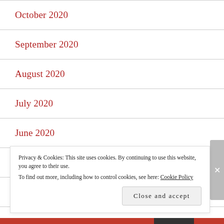October 2020
September 2020
August 2020
July 2020
June 2020
May 2020
April 2020
Privacy & Cookies: This site uses cookies. By continuing to use this website, you agree to their use.
To find out more, including how to control cookies, see here: Cookie Policy
Close and accept